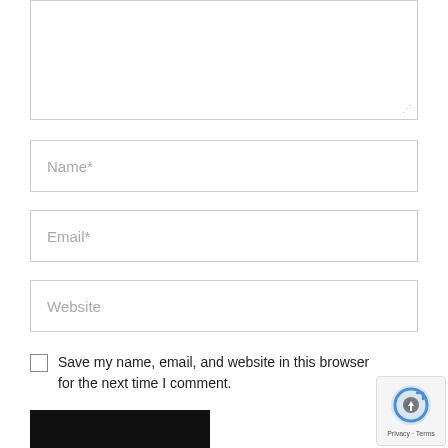[Figure (screenshot): Text area input box (comment field) with resize handle at bottom-right]
Name*
Email*
Website
Save my name, email, and website in this browser for the next time I comment.
[Figure (screenshot): reCAPTCHA badge with Privacy and Terms links]